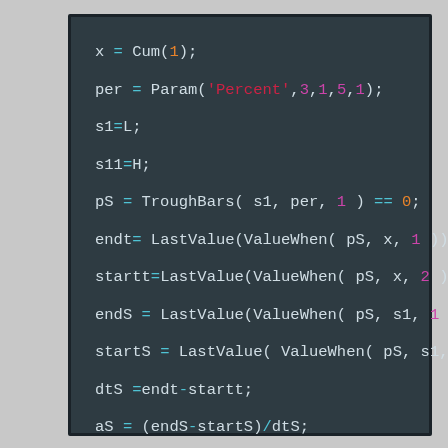x = Cum(1);
per = Param('Percent',3,1,5,1);
s1=L;
s11=H;
pS = TroughBars( s1, per, 1 ) == 0;
endt= LastValue(ValueWhen( pS, x, 1 ));
startt=LastValue(ValueWhen( pS, x, 2 ));
endS = LastValue(ValueWhen( pS, s1, 1 ) );
startS = LastValue( ValueWhen( pS, s1, 2 ));
dtS =endt-startt;
aS = (endS-startS)/dtS;